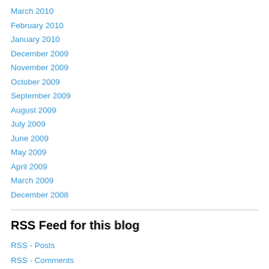March 2010
February 2010
January 2010
December 2009
November 2009
October 2009
September 2009
August 2009
July 2009
June 2009
May 2009
April 2009
March 2009
December 2008
RSS Feed for this blog
RSS - Posts
RSS - Comments